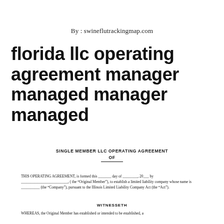By : swineflutrackingmap.com
florida llc operating agreement manager managed manager managed
SINGLE MEMBER LLC OPERATING AGREEMENT
OF
THIS OPERATING AGREEMENT, is formed this _______ day of ________, 20___ by _________________________, ( the “Original Member”), to establish a limited liability company whose name is __________ (the “Company”), pursuant to the Illinois Limited Liability Company Act (the “Act”).
WITNESSETH
WHEREAS, the Original Member has established or intended to be established, a